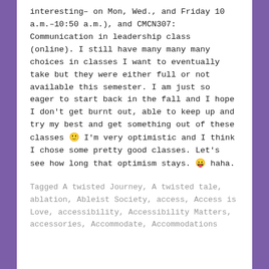interesting– on Mon, Wed., and Friday 10 a.m.–10:50 a.m.), and CMCN307: Communication in leadership class (online). I still have many many many choices in classes I want to eventually take but they were either full or not available this semester. I am just so eager to start back in the fall and I hope I don't get burnt out, able to keep up and try my best and get something out of these classes 🙂 I'm very optimistic and I think I chose some pretty good classes. Let's see how long that optimism stays. 😛 haha.
Tagged A twisted Journey, A twisted tale, ablation, Ableist Society, access, Access is Love, accessibility, Accessibility Matters, accessories, Accommodate, Accommodations